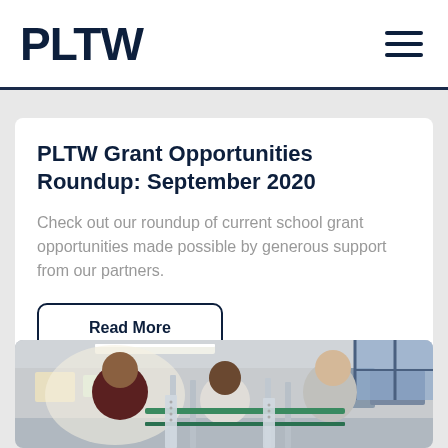PLTW
PLTW Grant Opportunities Roundup: September 2020
Check out our roundup of current school grant opportunities made possible by generous support from our partners.
Read More
[Figure (photo): Students working together in a classroom on an engineering/robotics project, building with metal frames and components]